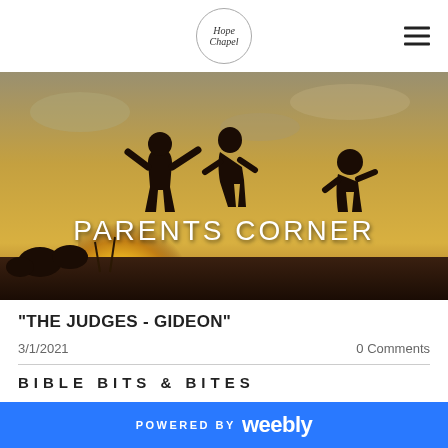Hope Chapel
[Figure (photo): Silhouettes of three children playing outdoors against a golden sunset sky, with text overlay reading PARENTS CORNER]
“THE JUDGES - GIDEON”
3/1/2021    0 Comments
BIBLE BITS & BITES
POWERED BY weebly